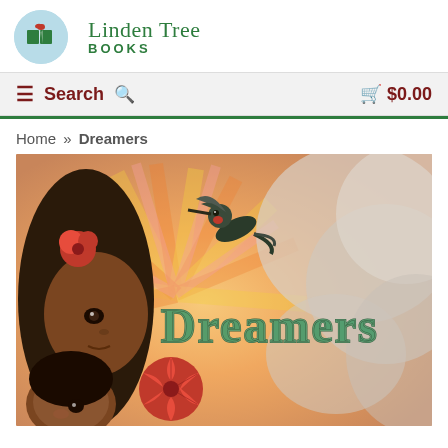[Figure (logo): Linden Tree Books logo: circular blue-green badge with open book icon, next to text 'Linden Tree Books' in green]
≡ Search 🔍   🛒 $0.00
Home » Dreamers
[Figure (photo): Book cover of 'Dreamers' — illustrated cover showing a woman and child with a large decorative hummingbird, red flowers, and the title 'Dreamers' in stylized green lettering over a warm sunburst background]